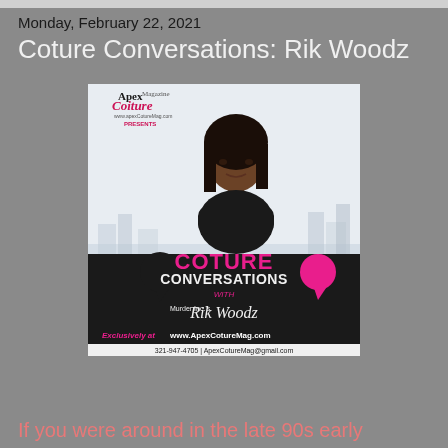Monday, February 22, 2021
Coture Conversations: Rik Woodz
[Figure (photo): Apex Coiture Magazine promotional image for 'Coture Conversations with Rik Woodz'. Features a woman in a black turtleneck with arms crossed, city skyline background, speech bubble icons, pink text reading 'COTURE CONVERSATIONS', subtitle 'with' in pink, 'Murder Inc.'s Rik Woodz' in script, bottom bar reading 'Exclusively at www.ApexCotureMag.com' and contact info '321-947-4705 | ApexCotureMag@gmail.com'.]
If you were around in the late 90s early